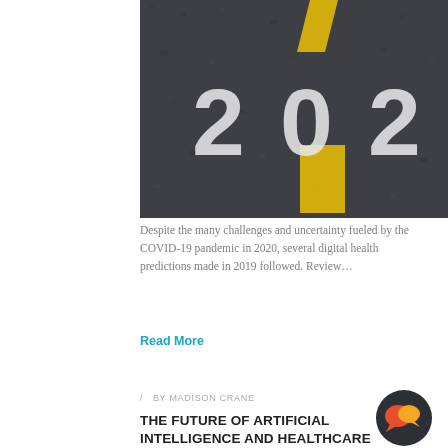[Figure (photo): Aerial/top-down photo of asphalt road with white painted numbers '202' and yellow lane markings, suggesting year 2020 or 2021.]
Despite the many challenges and uncertainty fueled by the COVID-19 pandemic in 2020, several digital health predictions made in 2019 followed. Review…
Read More
/ BY MADISON CRANE
THE FUTURE OF ARTIFICIAL INTELLIGENCE AND HEALTHCARE